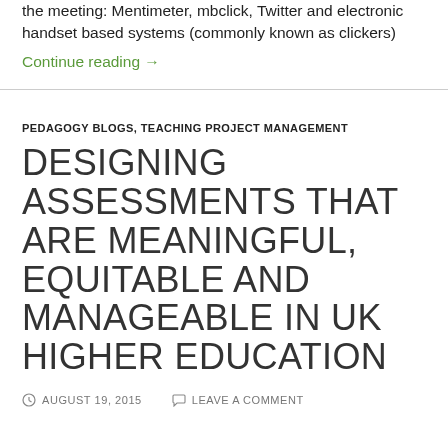the meeting: Mentimeter, mbclick, Twitter and electronic handset based systems (commonly known as clickers)
Continue reading →
PEDAGOGY BLOGS, TEACHING PROJECT MANAGEMENT
DESIGNING ASSESSMENTS THAT ARE MEANINGFUL, EQUITABLE AND MANAGEABLE IN UK HIGHER EDUCATION
AUGUST 19, 2015   LEAVE A COMMENT